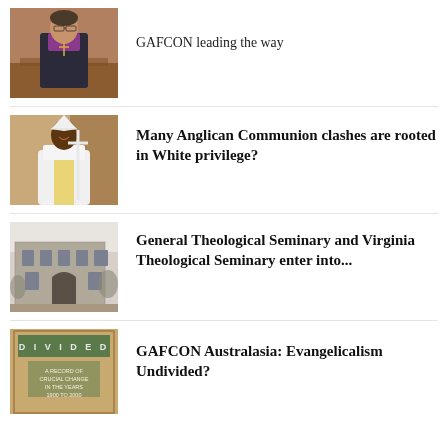[Figure (photo): Bishop in purple vestments standing in a church interior]
GAFCON leading the way
[Figure (photo): Bishop in white robes and mitre holding a cross]
Many Anglican Communion clashes are rooted in White privilege?
[Figure (photo): Black and white photograph of a stone seminary building]
General Theological Seminary and Virginia Theological Seminary enter into...
[Figure (illustration): Book cover reading DIVIDED - A Record of Crucial Change in the Years 1900 to 2000]
GAFCON Australasia: Evangelicalism Undivided?